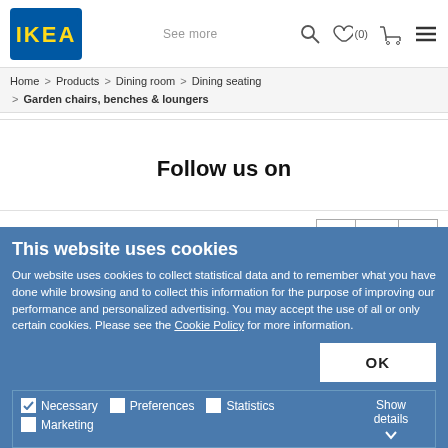[Figure (logo): IKEA logo - blue rectangle with yellow IKEA text]
See more | (0) | cart icon | menu icon
Home > Products > Dining room > Dining seating > Garden chairs, benches & loungers
Follow us on
Quantity:  -  1  +
This website uses cookies
Our website uses cookies to collect statistical data and to remember what you have done while browsing and to collect this information for the purpose of improving our performance and personalized advertising. You may accept the use of all or only certain cookies. Please see the Cookie Policy for more information.
OK
Necessary  Preferences  Statistics  Marketing  Show details